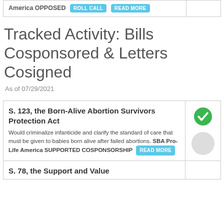| Bill Info | Status |
| --- | --- |
| America OPPOSED  [ROLL CALL]  [READ MORE] |  |
Tracked Activity: Bills Cosponsored & Letters Cosigned
As of 07/29/2021
| Bill | Vote |
| --- | --- |
| S. 123, the Born-Alive Abortion Survivors Protection Act
Would criminalize infanticide and clarify the standard of care that must be given to babies born alive after failed abortions. SBA Pro-Life America SUPPORTED COSPONSORSHIP [READ MORE] | ✓ |
| S. 78, the Support and Value |  |